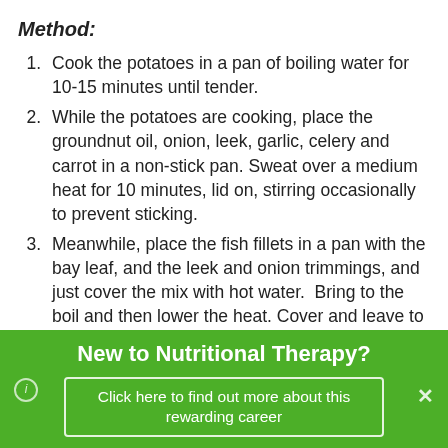Method:
Cook the potatoes in a pan of boiling water for 10-15 minutes until tender.
While the potatoes are cooking, place the groundnut oil, onion, leek, garlic, celery and carrot in a non-stick pan. Sweat over a medium heat for 10 minutes, lid on, stirring occasionally to prevent sticking.
Meanwhile, place the fish fillets in a pan with the bay leaf, and the leek and onion trimmings, and just cover the mix with hot water.  Bring to the boil and then lower the heat. Cover and leave to simmer for about 5 minutes.
New to Nutritional Therapy?
Click here to find out more about this rewarding career